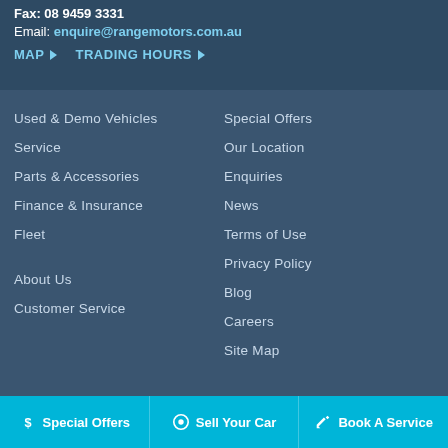Fax: 08 9459 3331
Email: enquire@rangemotors.com.au
MAP ▶   TRADING HOURS ▶
Used & Demo Vehicles
Service
Parts & Accessories
Finance & Insurance
Fleet
About Us
Customer Service
Special Offers
Our Location
Enquiries
News
Terms of Use
Privacy Policy
Blog
Careers
Site Map
$ Special Offers   ⊙ Sell Your Car   🔧 Book A Service